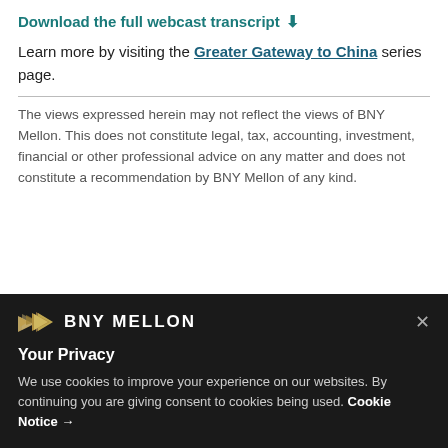Download the full webcast transcript ⬇
Learn more by visiting the Greater Gateway to China series page.
The views expressed herein may not reflect the views of BNY Mellon. This does not constitute legal, tax, accounting, investment, financial or other professional advice on any matter and does not constitute a recommendation by BNY Mellon of any kind.
BNY MELLON
Your Privacy
We use cookies to improve your experience on our websites. By continuing you are giving consent to cookies being used. Cookie Notice →